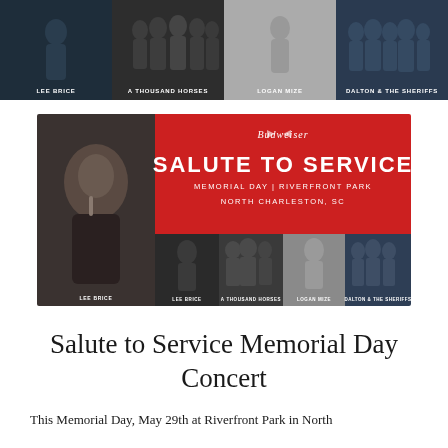[Figure (photo): Top banner showing four artist groups: Lee Brice, A Thousand Horses, Logan Mize, Dalton & The Sheriffs on dark background]
[Figure (photo): Budweiser Salute to Service Memorial Day concert poster featuring Lee Brice on left, red background with event title, and four artist panels on bottom]
Salute to Service Memorial Day Concert
This Memorial Day, May 29th at Riverfront Park in North